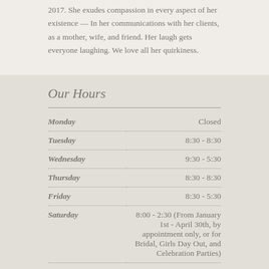2017. She exudes compassion in every aspect of her existence — In her communications with her clients, as a mother, wife, and friend. Her laugh gets everyone laughing. We love all her quirkiness.
Our Hours
| Day | Hours |
| --- | --- |
| Monday | Closed |
| Tuesday | 8:30 - 8:30 |
| Wednesday | 9:30 - 5:30 |
| Thursday | 8:30 - 8:30 |
| Friday | 8:30 - 5:30 |
| Saturday | 8:00 - 2:30 (From January 1st - April 30th, by appointment only, or for Bridal, Girls Day Out, and Celebration Parties) |
| Sunday | Closed |